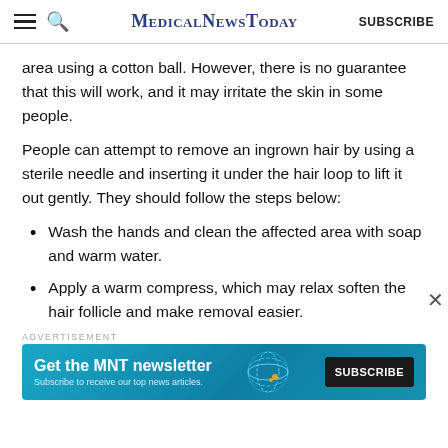MedicalNewsToday  SUBSCRIBE
area using a cotton ball. However, there is no guarantee that this will work, and it may irritate the skin in some people.
People can attempt to remove an ingrown hair by using a sterile needle and inserting it under the hair loop to lift it out gently. They should follow the steps below:
Wash the hands and clean the affected area with soap and warm water.
Apply a warm compress, which may relax soften the hair follicle and make removal easier.
ADVERTISEMENT
[Figure (infographic): MNT newsletter advertisement banner with teal/blue background, globe graphic, text 'Get the MNT newsletter' and 'Subscribe to receive our top news articles.' with a Subscribe button.]